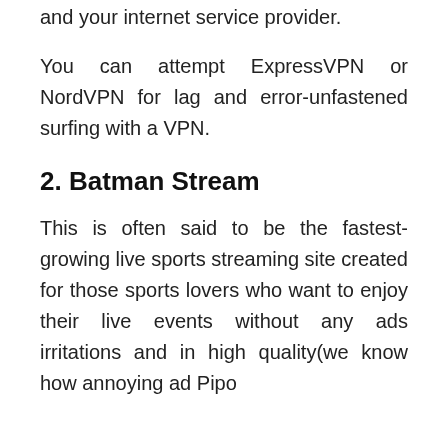and your internet service provider.
You can attempt ExpressVPN or NordVPN for lag and error-unfastened surfing with a VPN.
2. Batman Stream
This is often said to be the fastest-growing live sports streaming site created for those sports lovers who want to enjoy their live events without any ads irritations and in high quality(we know how annoying ad Pipo